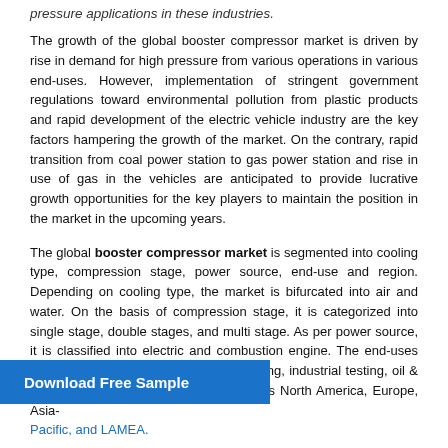pressure applications in these industries.
The growth of the global booster compressor market is driven by rise in demand for high pressure from various operations in various end-uses. However, implementation of stringent government regulations toward environmental pollution from plastic products and rapid development of the electric vehicle industry are the key factors hampering the growth of the market. On the contrary, rapid transition from coal power station to gas power station and rise in use of gas in the vehicles are anticipated to provide lucrative growth opportunities for the key players to maintain the position in the market in the upcoming years.
The global booster compressor market is segmented into cooling type, compression stage, power source, end-use and region. Depending on cooling type, the market is bifurcated into air and water. On the basis of compression stage, it is categorized into single stage, double stages, and multi stage. As per power source, it is classified into electric and combustion engine. The end-uses covered in the study include manufacturing, industrial testing, oil & gas, construction, and nalyzed across North America, Europe, Asia-Pacific, and LAMEA.